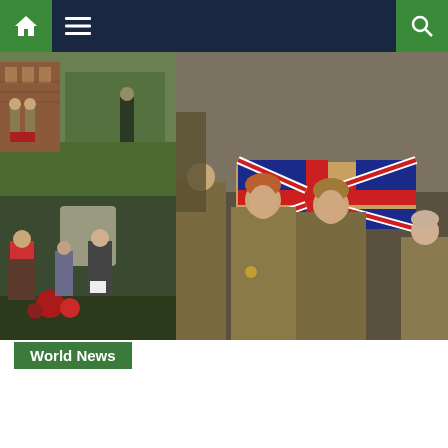[Figure (screenshot): Website navigation bar with home icon (green background), hamburger menu icon, and search icon (green background) on dark navy background]
[Figure (photo): Collage of three military/memorial photos: top-left shows soldiers in uniform at a ceremony near a brick building; bottom-left shows people at a memorial wreath-laying ceremony; large right image shows soldiers in WWI-style khaki uniforms carrying a Union Jack-draped coffin]
[Figure (screenshot): World News green label/tag]
[Figure (screenshot): Cookie consent overlay with text about cookies and partners, with Ok button and X close button]